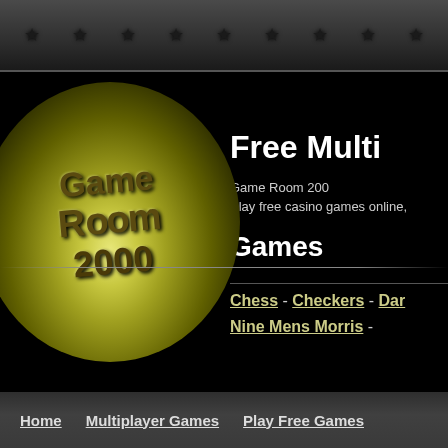★ ★ ★ ★ ★ ★ ★ ★ ★ ★
[Figure (logo): Game Room 2000 logo - circular glowing yellow-green orb with stylized 3D text reading 'Game Room 2000']
Free Multi
Game Room 200
Play free casino games online,
Games
Chess - Checkers - Dar
Nine Mens Morris -
Home   Multiplayer Games   Play Free Games